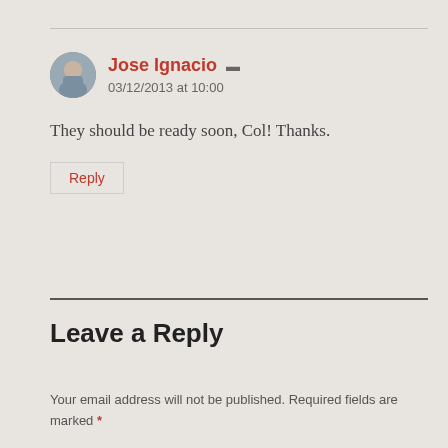[Figure (illustration): Circular avatar photo of Jose Ignacio, a person with light complexion]
Jose Ignacio
03/12/2013 at 10:00
They should be ready soon, Col! Thanks.
Reply
Leave a Reply
Your email address will not be published. Required fields are marked *